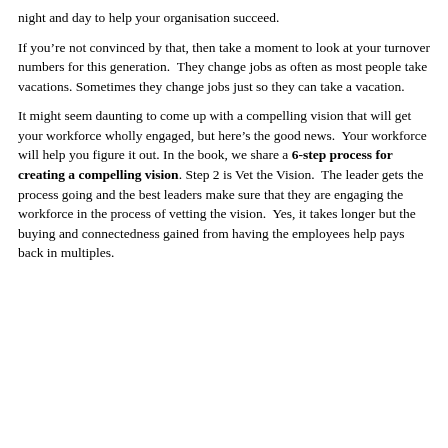night and day to help your organisation succeed.
If you’re not convinced by that, then take a moment to look at your turnover numbers for this generation.  They change jobs as often as most people take vacations. Sometimes they change jobs just so they can take a vacation.
It might seem daunting to come up with a compelling vision that will get your workforce wholly engaged, but here’s the good news.  Your workforce will help you figure it out. In the book, we share a 6-step process for creating a compelling vision. Step 2 is Vet the Vision.  The leader gets the process going and the best leaders make sure that they are engaging the workforce in the process of vetting the vision.  Yes, it takes longer but the buying and connectedness gained from having the employees help pays back in multiples.